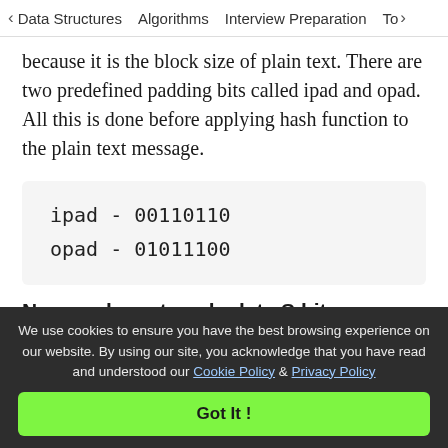< Data Structures   Algorithms   Interview Preparation   To>
because it is the block size of plain text. There are two predefined padding bits called ipad and opad. All this is done before applying hash function to the plain text message.
ipad - 00110110
opad - 01011100
Now we have to calculate S bits
K+ is EXORed with ipad and the result is S1 bits
We use cookies to ensure you have the best browsing experience on our website. By using our site, you acknowledge that you have read and understood our Cookie Policy & Privacy Policy
Got It !